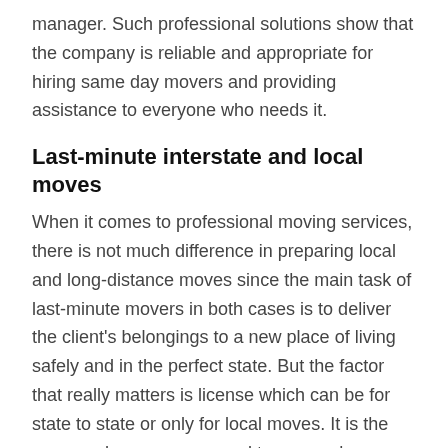manager. Such professional solutions show that the company is reliable and appropriate for hiring same day movers and providing assistance to everyone who needs it.
Last-minute interstate and local moves
When it comes to professional moving services, there is not much difference in preparing local and long-distance moves since the main task of last-minute movers in both cases is to deliver the client's belongings to a new place of living safely and in the perfect state. But the factor that really matters is license which can be for state to state or only for local moves. It is the reason why we recommend to use such companies like Same Day Movers – Eagle Company  who has state to state license and works all over the US offering top-notch moving solutions